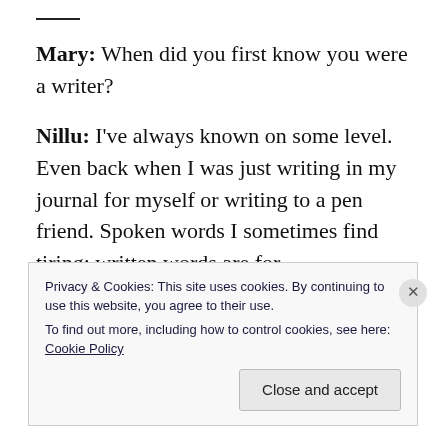Mary: When did you first know you were a writer?
Nillu: I've always known on some level. Even back when I was just writing in my journal for myself or writing to a pen friend. Spoken words I sometimes find tiring; written words are for
Privacy & Cookies: This site uses cookies. By continuing to use this website, you agree to their use.
To find out more, including how to control cookies, see here: Cookie Policy
Close and accept